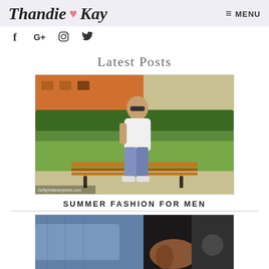Thandie ♥ Kay    ≡ MENU
[Figure (logo): Thandie Kay blog logo with pink heart and hamburger menu icon]
[Figure (illustration): Social media icons: Facebook, Google+, Instagram, Twitter]
Latest Posts
[Figure (photo): Man in white t-shirt and ripped jeans sitting on a wooden bench outdoors, sunglasses, with greenery background. Watermark: Getty/Indianexpress.com]
SUMMER FASHION FOR MEN
[Figure (photo): Close-up photo showing denim jacket/jeans and a person's hand, dark background]